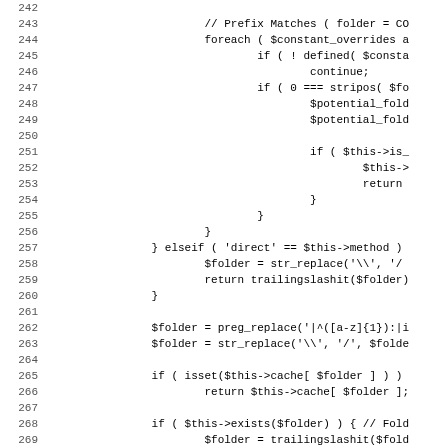[Figure (screenshot): Source code listing showing PHP code lines 242-274, with line numbers on the left and code content on the right. The code includes PHP logic for folder path resolution, including prefix matching, elseif conditions, preg_replace, str_replace, isset cache checks, and folder existence checks.]